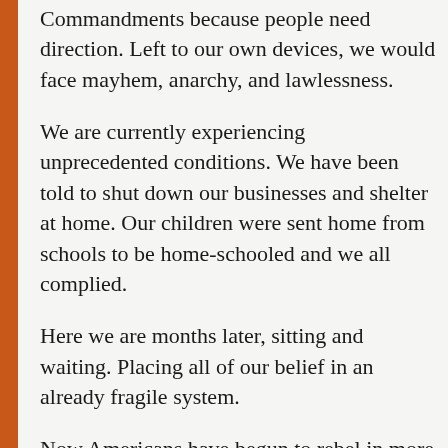Commandments because people need direction. Left to our own devices, we would face mayhem, anarchy, and lawlessness.
We are currently experiencing unprecedented conditions. We have been told to shut down our businesses and shelter at home. Our children were sent home from schools to be home-schooled and we all complied.
Here we are months later, sitting and waiting. Placing all of our belief in an already fragile system.
Now Americans have begun to rebel in more than a dozen states. They believe their civil liberties and their personal freedoms have been